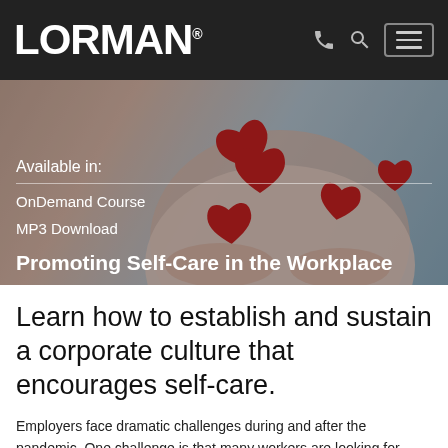LORMAN®
[Figure (photo): Person holding multiple red paper hearts against a light blue background, with hero overlay text about the course.]
Available in:
OnDemand Course
MP3 Download
Promoting Self-Care in the Workplace
Learn how to establish and sustain a corporate culture that encourages self-care.
Employers face dramatic challenges during and after the pandemic. One challenge is that many workers are looking for more safety and security in their lives and workplaces. They also want better work-life balance. Employers need...